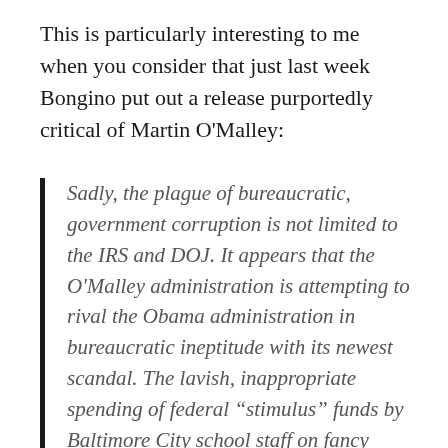This is particularly interesting to me when you consider that just last week Bongino put out a release purportedly critical of Martin O'Malley:
Sadly, the plague of bureaucratic, government corruption is not limited to the IRS and DOJ. It appears that the O'Malley administration is attempting to rival the Obama administration in bureaucratic ineptitude with its newest scandal. The lavish, inappropriate spending of federal “stimulus” funds by Baltimore City school staff on fancy dinners and expensive watches is another sad example of the very real